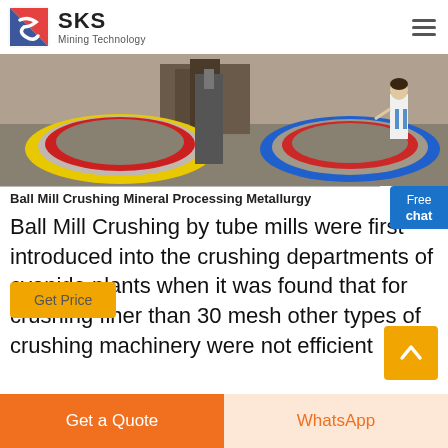SKS Mining Technology
[Figure (photo): Industrial ball mill equipment on a factory floor — large circular grinding mills with red, yellow, and blue painted rims visible, with machinery and a person in background.]
Ball Mill Crushing Mineral Processing Metallurgy
Ball Mill Crushing by tube mills were first introduced into the crushing departments of cyanide plants when it was found that for crushing finer than 30 mesh other types of crushing machinery were not efficient